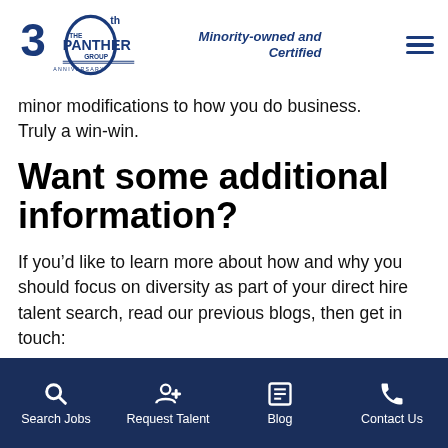[Figure (logo): The Panther Group 30th Anniversary logo with blue text]
Minority-owned and Certified
minor modifications to how you do business. Truly a win-win.
Want some additional information?
If you’d like to learn more about how and why you should focus on diversity as part of your direct hire talent search, read our previous blogs, then get in touch:
The case for diversity hiring in your company…
Search Jobs  Request Talent  Blog  Contact Us